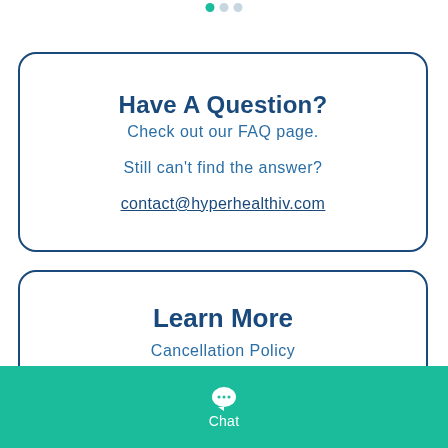[Figure (other): Three pagination dots at top: first dot teal/active, second and third grey/inactive]
Have A Question?
Check out our FAQ page.
Still can't find the answer?
contact@hyperhealthiv.com
Learn More
Cancellation Policy
Locations
Chat